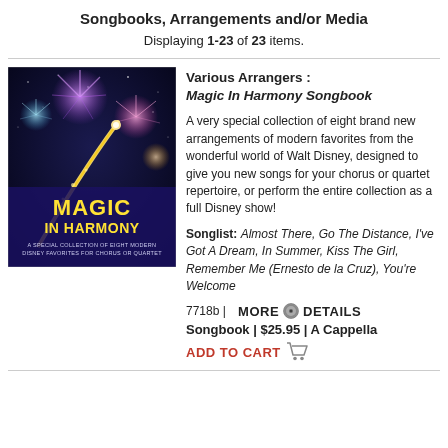Songbooks, Arrangements and/or Media
Displaying 1-23 of 23 items.
[Figure (photo): Cover of Magic In Harmony Songbook showing fireworks on a night sky with yellow text reading MAGIC IN HARMONY]
Various Arrangers : Magic In Harmony Songbook
A very special collection of eight brand new arrangements of modern favorites from the wonderful world of Walt Disney, designed to give you new songs for your chorus or quartet repertoire, or perform the entire collection as a full Disney show!
Songlist: Almost There, Go The Distance, I've Got A Dream, In Summer, Kiss The Girl, Remember Me (Ernesto de la Cruz), You're Welcome
7718b |   MORE DETAILS
Songbook | $25.95 | A Cappella
ADD TO CART